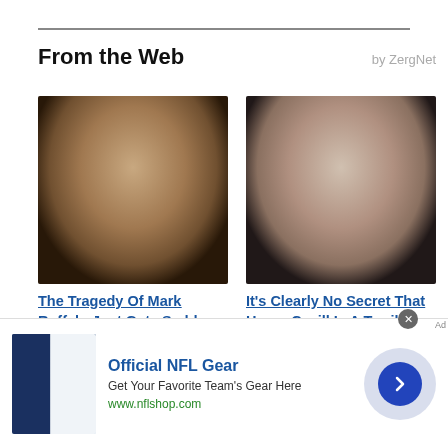From the Web
by ZergNet
[Figure (photo): Close-up photo of Mark Ruffalo, middle-aged man with salt-and-pepper hair]
[Figure (photo): Close-up photo of Henry Cavill with dark curly hair and a mustache]
The Tragedy Of Mark Ruffalo Just Gets Sadder And Sadder
It's Clearly No Secret That Henry Cavill Is A Terrible Dude
[Figure (photo): Advertisement: NFL jerseys image]
Official NFL Gear
Get Your Favorite Team's Gear Here
www.nflshop.com